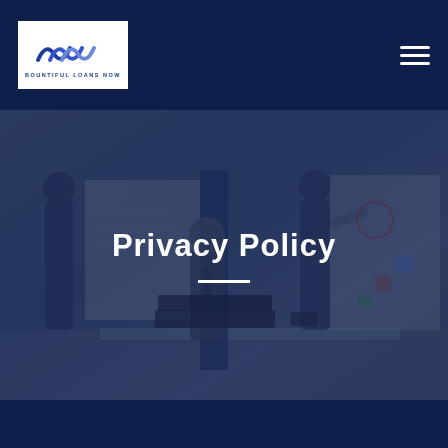Bountiful Loans Now — Navigation bar with logo and hamburger menu
[Figure (photo): Hero banner image showing an office scene with business people working at whiteboards and a laptop, overlaid with a dark blue semi-transparent filter. Center text reads 'Privacy Policy' in white bold font with a short white horizontal rule below.]
Privacy Policy